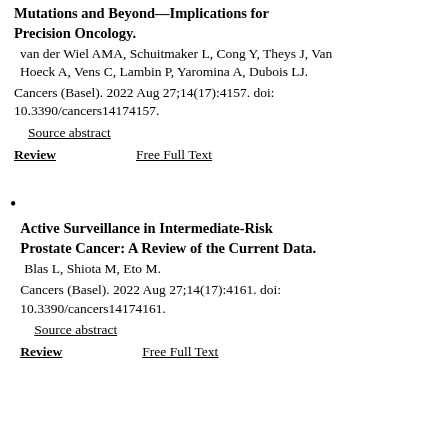Mutations and Beyond—Implications for Precision Oncology. van der Wiel AMA, Schuitmaker L, Cong Y, Theys J, Van Hoeck A, Vens C, Lambin P, Yaromina A, Dubois LJ. Cancers (Basel). 2022 Aug 27;14(17):4157. doi: 10.3390/cancers14174157. Source abstract Review Free Full Text
Active Surveillance in Intermediate-Risk Prostate Cancer: A Review of the Current Data. Blas L, Shiota M, Eto M. Cancers (Basel). 2022 Aug 27;14(17):4161. doi: 10.3390/cancers14174161. Source abstract Review Free Full Text